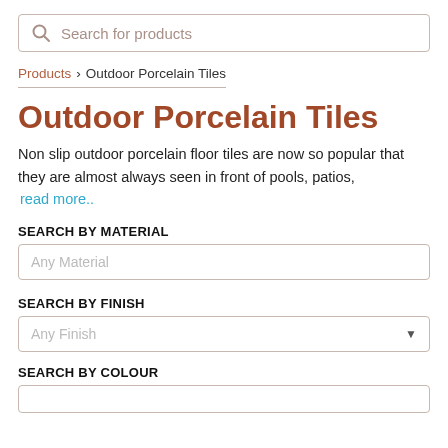[Figure (screenshot): Search bar with magnifying glass icon and placeholder text 'Search for products']
Products > Outdoor Porcelain Tiles
Outdoor Porcelain Tiles
Non slip outdoor porcelain floor tiles are now so popular that they are almost always seen in front of pools, patios, read more..
SEARCH BY MATERIAL
Any Material
SEARCH BY FINISH
Any Finish
SEARCH BY COLOUR